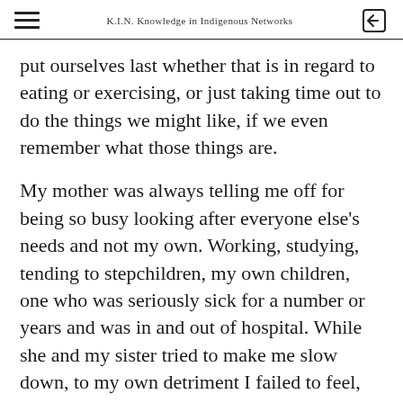K.I.N. Knowledge in Indigenous Networks
put ourselves last whether that is in regard to eating or exercising, or just taking time out to do the things we might like, if we even remember what those things are.
My mother was always telling me off for being so busy looking after everyone else's needs and not my own. Working, studying, tending to stepchildren, my own children, one who was seriously sick for a number or years and was in and out of hospital. While she and my sister tried to make me slow down, to my own detriment I failed to feel,